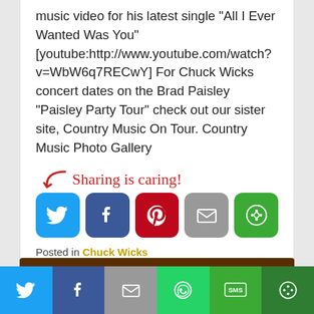music video for his latest single "All I Ever Wanted Was You" [youtube:http://www.youtube.com/watch?v=WbW6q7RECwY] For Chuck Wicks concert dates on the Brad Paisley "Paisley Party Tour" check out our sister site, Country Music On Tour. Country Music Photo Gallery
[Figure (infographic): Sharing is caring! text with arrow and social sharing buttons: Twitter (blue), Facebook (dark blue), Pinterest (red), Email (grey), More (green)]
Posted in Chuck Wicks
Join Our Mailing List!
[Figure (infographic): Bottom bar with social sharing buttons: Twitter, Facebook, Email, WhatsApp, SMS, More]